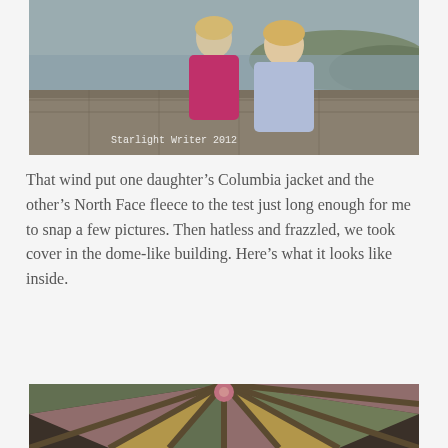[Figure (photo): Two young girls standing on a stone wall overlook with a river and hills in the background. One girl wears a magenta fleece (North Face), the other a light blue Columbia jacket. Watermark reads 'Starlight Writer 2012'.]
That wind put one daughter's Columbia jacket and the other's North Face fleece to the test just long enough for me to snap a few pictures. Then hatless and frazzled, we took cover in the dome-like building. Here's what it looks like inside.
[Figure (photo): Interior view looking up at the ceiling of a dome-like building, showing radiating wooden beams and colored panels (green, pink/mauve, gold/tan) converging at a central pink rosette.]